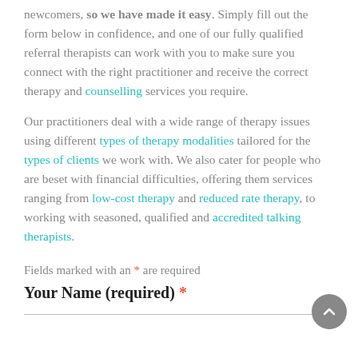newcomers, so we have made it easy. Simply fill out the form below in confidence, and one of our fully qualified referral therapists can work with you to make sure you connect with the right practitioner and receive the correct therapy and counselling services you require.
Our practitioners deal with a wide range of therapy issues using different types of therapy modalities tailored for the types of clients we work with. We also cater for people who are beset with financial difficulties, offering them services ranging from low-cost therapy and reduced rate therapy, to working with seasoned, qualified and accredited talking therapists.
Fields marked with an * are required
Your Name (required) *